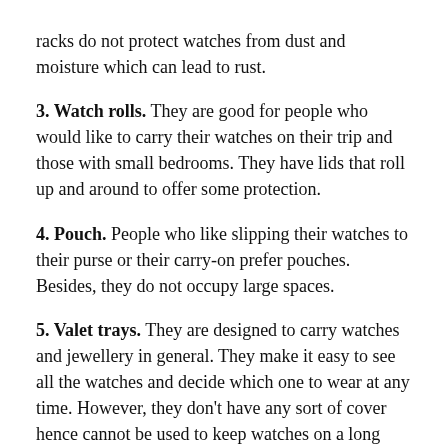racks do not protect watches from dust and moisture which can lead to rust.
3. Watch rolls. They are good for people who would like to carry their watches on their trip and those with small bedrooms. They have lids that roll up and around to offer some protection.
4. Pouch. People who like slipping their watches to their purse or their carry-on prefer pouches. Besides, they do not occupy large spaces.
5. Valet trays. They are designed to carry watches and jewellery in general. They make it easy to see all the watches and decide which one to wear at any time. However, they don't have any sort of cover hence cannot be used to keep watches on a long term basis.
6. Stands. They also display watches and makes it easy to